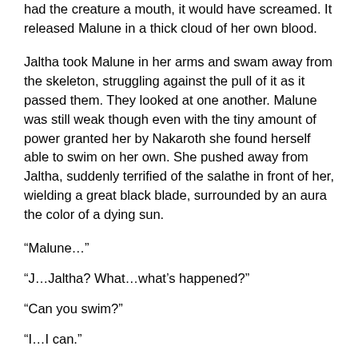had the creature a mouth, it would have screamed. It released Malune in a thick cloud of her own blood.
Jaltha took Malune in her arms and swam away from the skeleton, struggling against the pull of it as it passed them. They looked at one another. Malune was still weak though even with the tiny amount of power granted her by Nakaroth she found herself able to swim on her own. She pushed away from Jaltha, suddenly terrified of the salathe in front of her, wielding a great black blade, surrounded by an aura the color of a dying sun.
“Malune…”
“J…Jaltha? What…what’s happened?”
“Can you swim?”
“I…I can.”